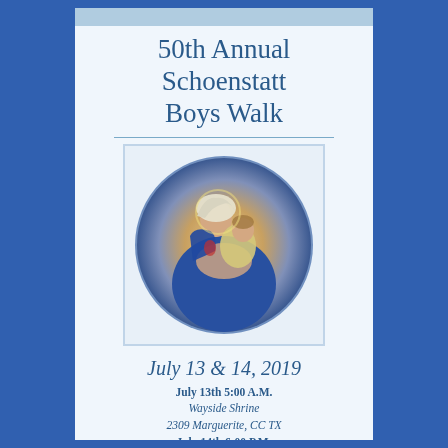50th Annual Schoenstatt Boys Walk
[Figure (illustration): Religious illustration of the Virgin Mary holding the Christ child, depicted in classic Catholic devotional style with blue robes, inside an oval vignette]
July 13 & 14, 2019
July 13th 5:00 A.M.
Wayside Shrine
2309 Marguerite, CC TX
July 14th 6:00 P.M.
Confidentia Shrine,
134 Front St, Rockport TX